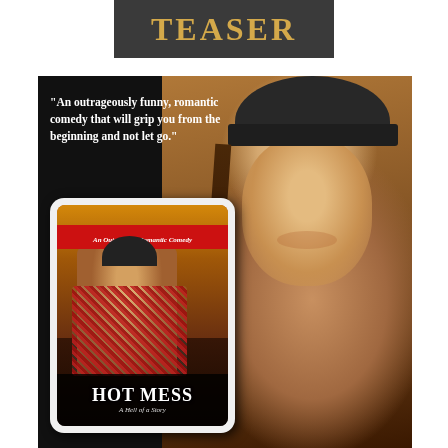TEASER
[Figure (photo): Book promotional teaser image showing a shirtless man with long hair and a dark beanie hat, smiling, holding a tablet displaying the book cover of 'Hot Mess: A Hell of a Story — An Outrageous Romantic Comedy'. The image includes a pull quote: "An outrageously funny, romantic comedy that will grip you from the beginning and not let go."]